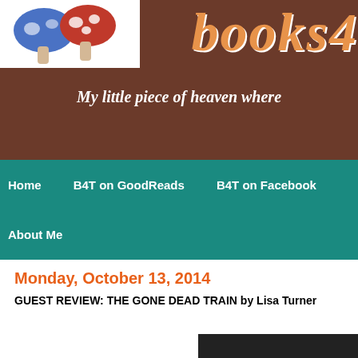[Figure (illustration): Blog header banner with brown background, colorful mushroom illustrations on left, decorative 'books4' text in orange on right, and italic tagline 'My little piece of heaven where' in white cursive font below]
Home   B4T on GoodReads   B4T on Facebook   About Me
Monday, October 13, 2014
GUEST REVIEW: THE GONE DEAD TRAIN by Lisa Turner